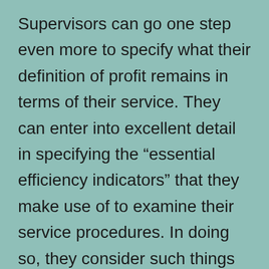Supervisors can go one step even more to specify what their definition of profit remains in terms of their service. They can enter into excellent detail in specifying the “essential efficiency indicators” that they make use of to examine their service procedures. In doing so, they consider such things as the schedule of areas, the top quality of service given by employee, the frequency of visitors’ requests for amenities, etc. Every one of these are very important parts of the dimension process of revenue and also loss monitoring. click here

The meaning of earnings need to not stop with